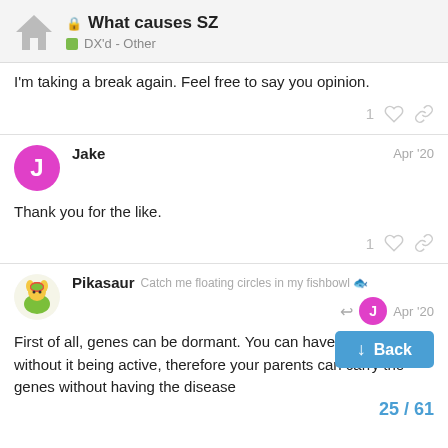What causes SZ | DX'd - Other
I'm taking a break again. Feel free to say you opinion.
Jake  Apr '20
Thank you for the like.
Pikasaur  Catch me floating circles in my fishbowl  Apr '20
First of all, genes can be dormant. You can have something without it being active, therefore your parents can carry the genes without having the disease